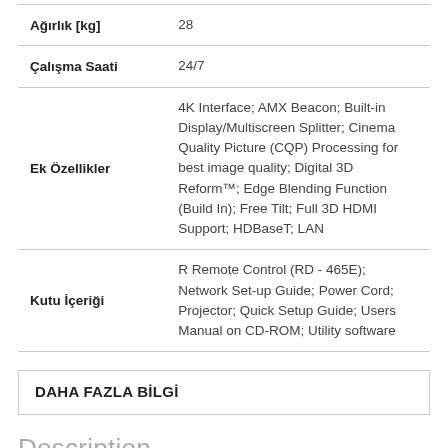|  |  |
| --- | --- |
| Ağırlık [kg] | 28 |
| Çalışma Saati | 24/7 |
| Ek Özellikler | 4K Interface; AMX Beacon; Built-in Display/Multiscreen Splitter; Cinema Quality Picture (CQP) Processing for best image quality; Digital 3D Reform™; Edge Blending Function (Build In); Free Tilt; Full 3D HDMI Support; HDBaseT; LAN |
| Kutu İçeriği | R Remote Control (RD - 465E); Network Set-up Guide; Power Cord; Projector; Quick Setup Guide; Users Manual on CD-ROM; Utility software |
DAHA FAZLA BİLGİ
Description